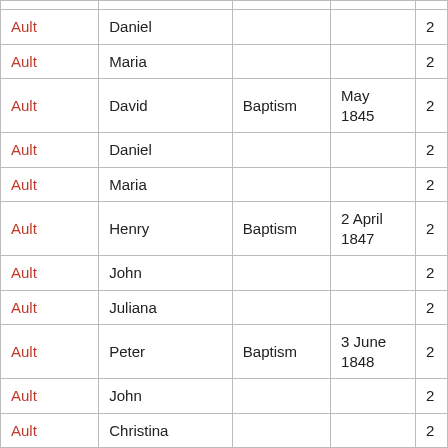| Last Name | First Name | Event Type | Date | # |
| --- | --- | --- | --- | --- |
| Ault | Daniel |  |  | 2 |
| Ault | Maria |  |  | 2 |
| Ault | David | Baptism | May 1845 | 2 |
| Ault | Daniel |  |  | 2 |
| Ault | Maria |  |  | 2 |
| Ault | Henry | Baptism | 2 April 1847 | 2 |
| Ault | John |  |  | 2 |
| Ault | Juliana |  |  | 2 |
| Ault | Peter | Baptism | 3 June 1848 | 2 |
| Ault | John |  |  | 2 |
| Ault | Christina |  |  | 2 |
| Ault | Catherine | Baptism | 3 June 1848 | 2 |
| Ault | Daniel |  |  | 2 |